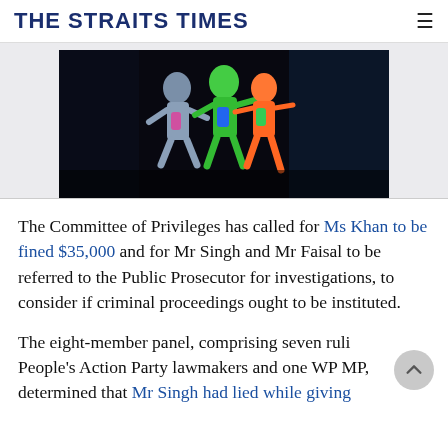THE STRAITS TIMES
[Figure (photo): Dark background photo showing three colorfully dressed dancers or performers (in blue, green, and red/orange outfits) in motion against a black background.]
The Committee of Privileges has called for Ms Khan to be fined $35,000 and for Mr Singh and Mr Faisal to be referred to the Public Prosecutor for investigations, to consider if criminal proceedings ought to be instituted.
The eight-member panel, comprising seven ruling People's Action Party lawmakers and one WP MP, determined that Mr Singh had lied while giving